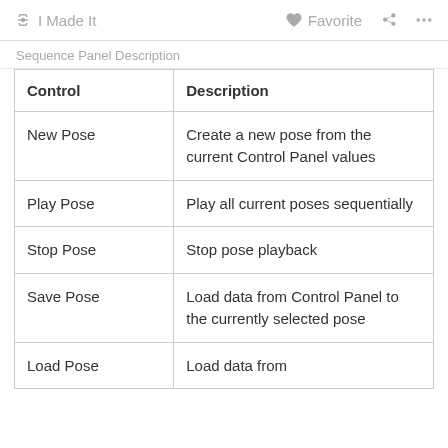I Made It   Favorite   ...
Sequence Panel Description
| Control | Description |
| --- | --- |
| New Pose | Create a new pose from the current Control Panel values |
| Play Pose | Play all current poses sequentially |
| Stop Pose | Stop pose playback |
| Save Pose | Load data from Control Panel to the currently selected pose |
| Load Pose | Load data from |